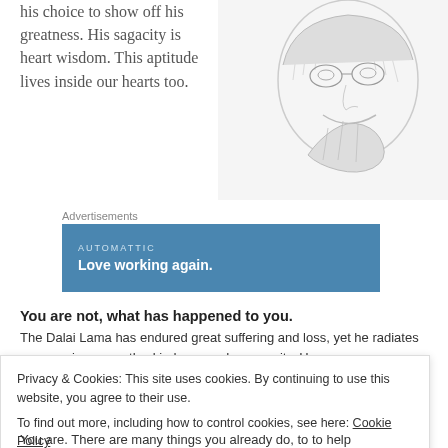his choice to show off his greatness. His sagacity is heart wisdom. This aptitude lives inside our hearts too.
[Figure (illustration): Pencil sketch illustration of the Dalai Lama smiling, holding his hands near his face]
Advertisements
[Figure (other): Automattic advertisement banner with text: AUTOMATTIC / Love working again.]
You are not, what has happened to you.
The Dalai Lama has endured great suffering and loss, yet he radiates compassion, empathy, kindness and generosity. He
Privacy & Cookies: This site uses cookies. By continuing to use this website, you agree to their use.
To find out more, including how to control cookies, see here: Cookie Policy
Close and accept
You are. There are many things you already do, to to help